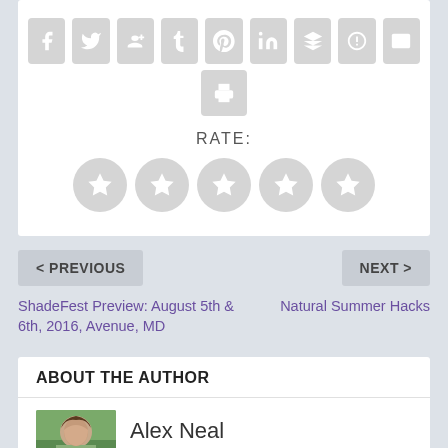[Figure (other): Social media sharing icon buttons row: Facebook, Twitter, Google+, Tumblr, Pinterest, LinkedIn, Buffer, StumbleUpon, Email]
[Figure (other): Print icon button]
RATE:
[Figure (other): Five star rating circles, all grey/empty]
< PREVIOUS
NEXT >
ShadeFest Preview: August 5th & 6th, 2016, Avenue, MD
Natural Summer Hacks
ABOUT THE AUTHOR
Alex Neal